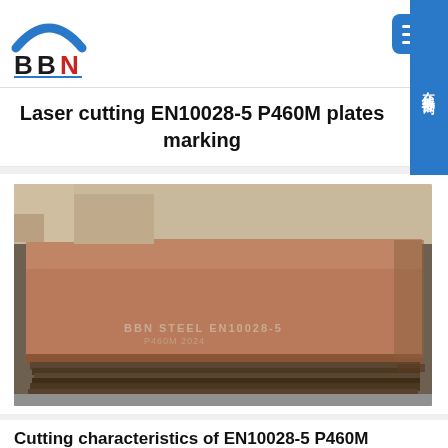[Figure (logo): BBN company logo with blue arch and red/black BBN letters]
Laser cutting EN10028-5 P460M plates marking
[Figure (photo): Stack of EN10028-5 P460M steel plates with laser markings visible on the top plate surface, industrial warehouse background]
Cutting characteristics of EN10028-5 P460M plates delivery condition